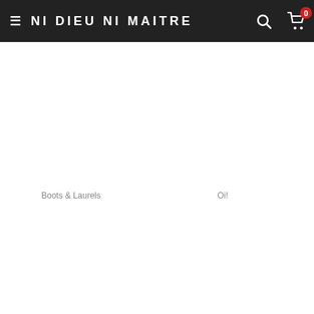NI DIEU NI MAITRE
Boots & Laurels
Oi!